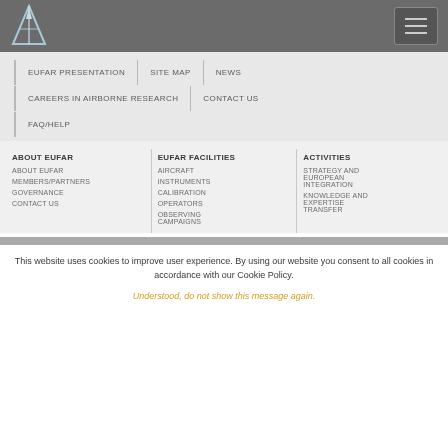EUFAR website header with logo and hamburger menu
EUFAR PRESENTATION
SITE MAP
NEWS
CAREERS IN AIRBORNE RESEARCH
CONTACT US
FAQ/HELP
ABOUT EUFAR
ABOUT EUFAR
MEMBERS/PARTNERS
GOVERNANCE
CONTACT US
EUFAR FACILITIES
AIRCRAFT
INSTRUMENTS
CALIBRATION
OPERATORS
OBSERVING CAMPAIGNS
ACTIVITIES
STRATEGY AND EUROPEAN INTEGRATION
KNOWLEDGE AND EXPERTISE TRANSFER
This website uses cookies to improve user experience. By using our website you consent to all cookies in accordance with our Cookie Policy.
Understood, do not show this message again.